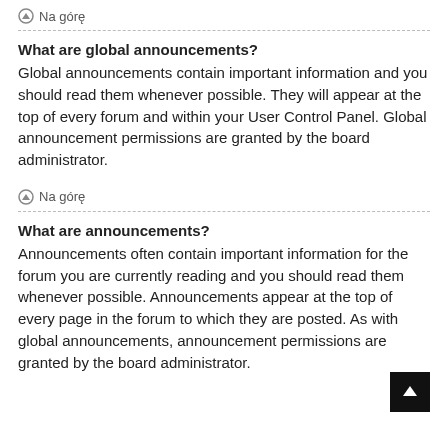Na górę
What are global announcements?
Global announcements contain important information and you should read them whenever possible. They will appear at the top of every forum and within your User Control Panel. Global announcement permissions are granted by the board administrator.
Na górę
What are announcements?
Announcements often contain important information for the forum you are currently reading and you should read them whenever possible. Announcements appear at the top of every page in the forum to which they are posted. As with global announcements, announcement permissions are granted by the board administrator.